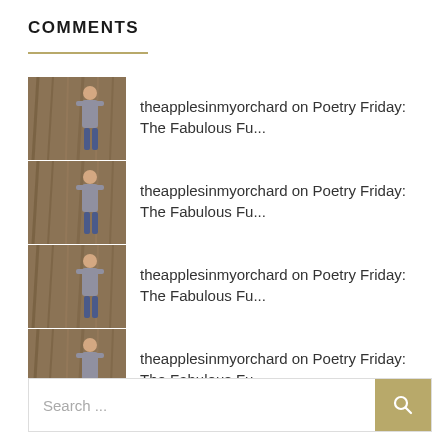COMMENTS
theapplesinmyorchard on Poetry Friday: The Fabulous Fu...
theapplesinmyorchard on Poetry Friday: The Fabulous Fu...
theapplesinmyorchard on Poetry Friday: The Fabulous Fu...
theapplesinmyorchard on Poetry Friday: The Fabulous Fu...
theapplesinmyorchard on Poetry Friday: The Fabulous Fu...